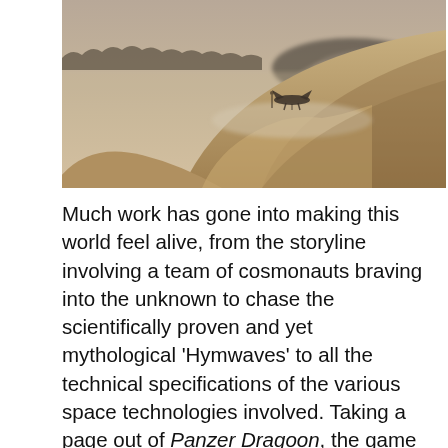[Figure (illustration): A wide panoramic scene of alien desert sand dunes with misty mountains in the background. A spacecraft or vehicle is visible in the mid-ground traveling across the dunes. The color palette is warm sandy tan and muted grey-blue.]
Much work has gone into making this world feel alive, from the storyline involving a team of cosmonauts braving into the unknown to chase the scientifically proven and yet mythological 'Hymwaves' to all the technical specifications of the various space technologies involved. Taking a page out of Panzer Dragoon, the game even presents its own made-up language. This kind of attention to detail makes the vast setting of the game feel as authentic as it is mesmerizing.